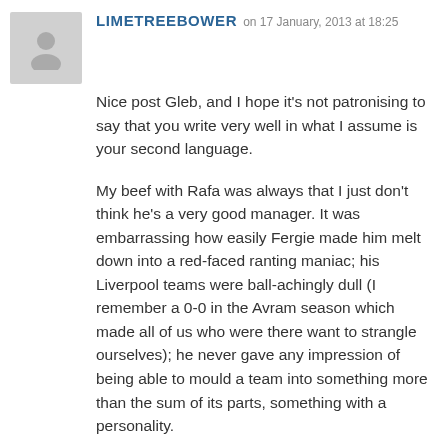LIMETREEBOWER on 17 January, 2013 at 18:25
[Figure (illustration): Gray placeholder avatar icon showing a generic person silhouette]
Nice post Gleb, and I hope it's not patronising to say that you write very well in what I assume is your second language.
My beef with Rafa was always that I just don't think he's a very good manager. It was embarrassing how easily Fergie made him melt down into a red-faced ranting maniac; his Liverpool teams were ball-achingly dull (I remember a 0-0 in the Avram season which made all of us who were there want to strangle ourselves); he never gave any impression of being able to mould a team into something more than the sum of its parts, something with a personality.
I'm in 100% agreement with Pete: we've gained absolutely nothing from sacking Robbie, at the